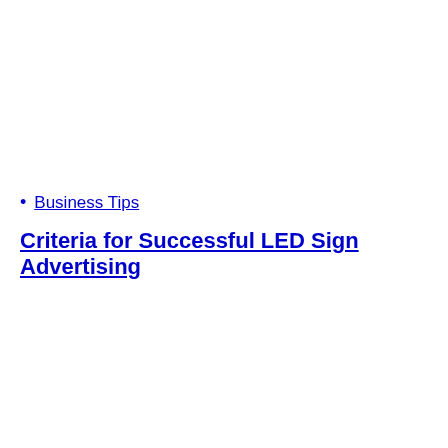Business Tips
Criteria for Successful LED Sign Advertising